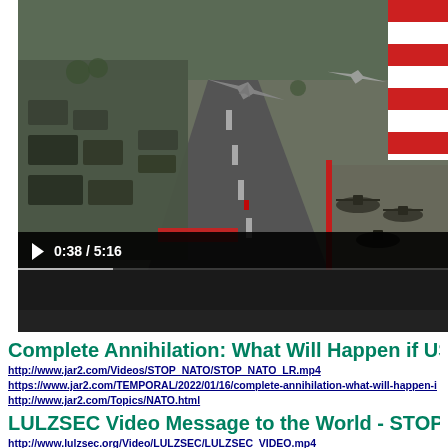[Figure (screenshot): Aerial video screenshot of a military equipment exhibition/airshow ground. Shows tarmac runway area with military jets, helicopters, vehicles, and red-and-white striped building. Video controls show play button and time 0:38 / 5:16 with progress bar.]
Complete Annihilation: What Will Happen if USA/...
http://www.jar2.com/Videos/STOP_NATO/STOP_NATO_LR.mp4
https://www.jar2.com/TEMPORAL/2022/01/16/complete-annihilation-what-will-happen-i...
http://www.jar2.com/Topics/NATO.html
LULZSEC Video Message to the World - STOP...
http://www.lulzsec.org/Video/LULZSEC/LULZSEC_VIDEO.mp4
http://www.lulzsec.org/Topics/STOP_NATO_LULZSEC.html
https://www.jar2.com/TEMPORAL/2022/01/06/lulzsec-video-message-to-the-world-stop-n...
Revived Dead YouTube Account - Waiting for B...